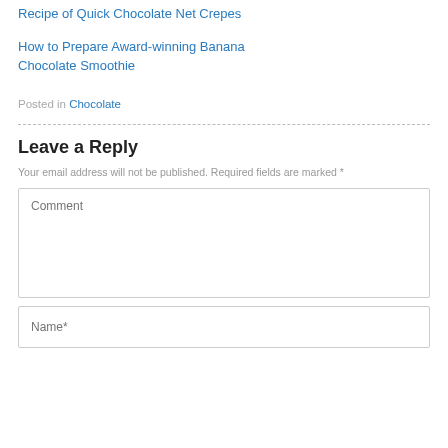Recipe of Quick Chocolate Net Crepes
How to Prepare Award-winning Banana Chocolate Smoothie
Posted in Chocolate
Leave a Reply
Your email address will not be published. Required fields are marked *